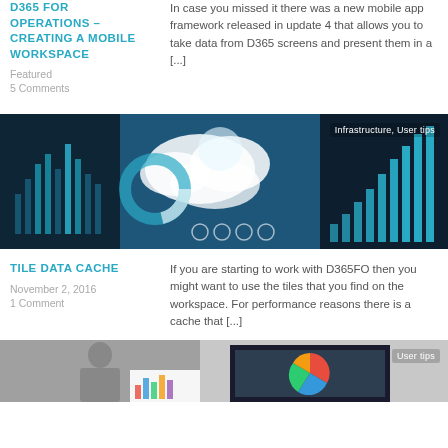D365 FOR OPERATIONS – CREATING A MOBILE WORKSPACE
Featured
5 Comments
In case you missed it there was a new mobile app framework released in update 4 that allows you to take data from D365 screens and present them in a [...]
[Figure (infographic): Dashboard analytics image with cloud graphics, bar charts, pie charts and data visualizations on blue background. Tags: Infrastructure, User tips]
TILE DATA CACHE
November 2, 2016
1 Comment
If you are starting to work with D365FO then you might want to use the tiles that you find on the workspace. For performance reasons there is a cache that [...]
[Figure (photo): Person working at a desk with charts visible on paper and a colorful pie chart on screen. Tag: User tips]